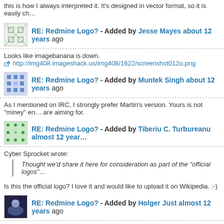this is how I always interpreted it. It's designed in vector format, so it is easily ch...
RE: Redmine Logo? - Added by Jesse Mayes about 12 years ago
Looks like imagebanana is down.
http://img408.imageshack.us/img408/1622/screenshot012o.png
RE: Redmine Logo? - Added by Muntek Singh about 12 years ago
As I mentioned on IRC, I strongly prefer Martin's version. Yours is not "miney" en... are aiming for.
RE: Redmine Logo? - Added by Tiberiu C. Turbureanu almost 12 year...
Cyber Sprocket wrote:
Thought we'd share it here for consideration as part of the "official logos"
Is this the official logo? I love it and would like to upload it on Wikipedia. :-)
RE: Redmine Logo? - Added by Holger Just almost 12 years ago
The generally accepted logo is this one: https://github.com/edavis10/redmine_l...
RE: Redmine Logo? (Possible to modify for other application related t... almost 12 years ago